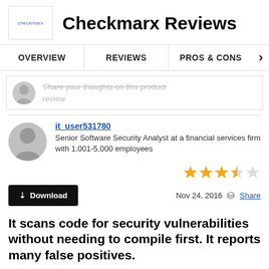Checkmarx Reviews
OVERVIEW | REVIEWS | PROS & CONS
Share your thoughts on this product review
it_user531780
Senior Software Security Analyst at a financial services firm with 1,001-5,000 employees
[Figure (other): 3.5 out of 5 star rating shown with 3 filled stars, 1 half star, and 1 empty star in yellow/gold color]
Download   Nov 24, 2016  Share
It scans code for security vulnerabilities without needing to compile first. It reports many false positives.